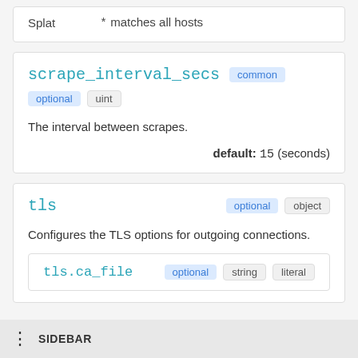| Type | Description |
| --- | --- |
| Splat | * matches all hosts |
scrape_interval_secs  common  optional  uint
The interval between scrapes.
default: 15 (seconds)
tls  optional  object
Configures the TLS options for outgoing connections.
tls.ca_file  optional  string  literal
SIDEBAR